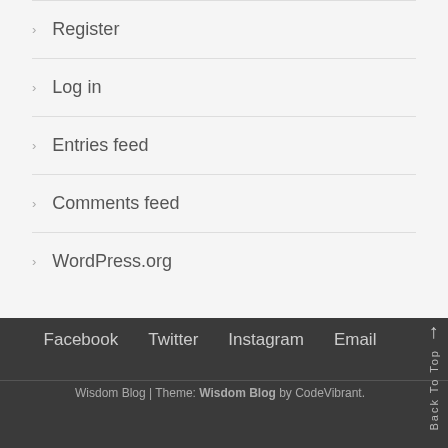Register
Log in
Entries feed
Comments feed
WordPress.org
Facebook   Twitter   Instagram   Email
Wisdom Blog | Theme: Wisdom Blog by CodeVibrant.
Back To Top